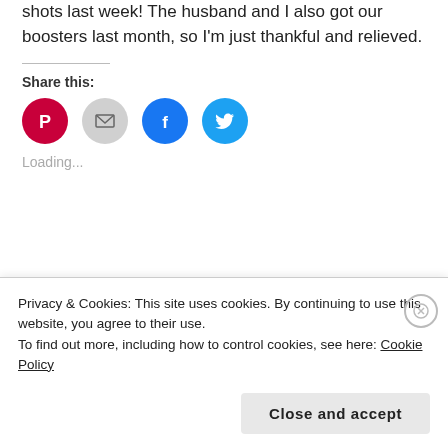shots last week! The husband and I also got our boosters last month, so I'm just thankful and relieved.
Share this:
[Figure (infographic): Four circular social share buttons: Pinterest (red with P icon), Email (gray with envelope icon), Facebook (blue with f icon), Twitter (light blue with bird icon)]
Loading...
#AMonthofFaves – Winter Reading
#AMonthofFaves – Routines and Habits
Privacy & Cookies: This site uses cookies. By continuing to use this website, you agree to their use. To find out more, including how to control cookies, see here: Cookie Policy
Close and accept